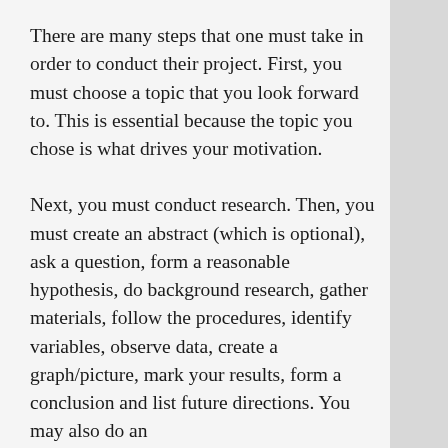There are many steps that one must take in order to conduct their project. First, you must choose a topic that you look forward to. This is essential because the topic you chose is what drives your motivation.
Next, you must conduct research. Then, you must create an abstract (which is optional), ask a question, form a reasonable hypothesis, do background research, gather materials, follow the procedures, identify variables, observe data, create a graph/picture, mark your results, form a conclusion and list future directions. You may also do an